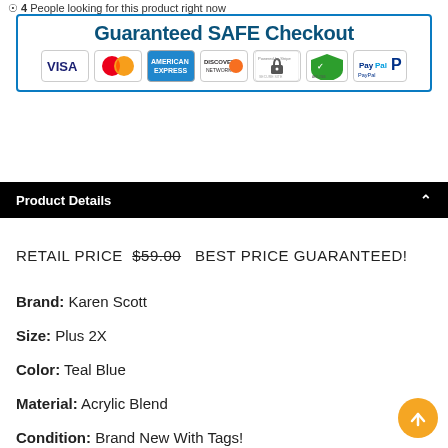4 People looking for this product right now
[Figure (infographic): Guaranteed SAFE Checkout banner with payment method logos: VISA, MasterCard, American Express, Discover Network, Stripe, Norton/AES security, PayPal]
Product Details
RETAIL PRICE $59.00  BEST PRICE GUARANTEED!
Brand: Karen Scott
Size: Plus 2X
Color: Teal Blue
Material: Acrylic Blend
Condition: Brand New With Tags!